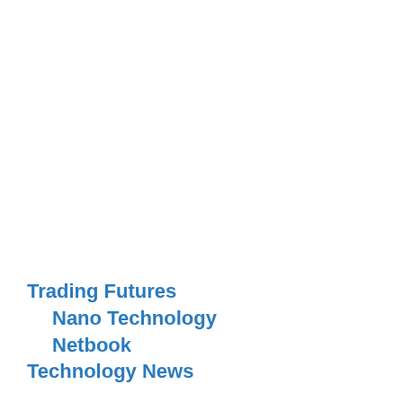Trading Futures
Nano Technology
Netbook
Technology News